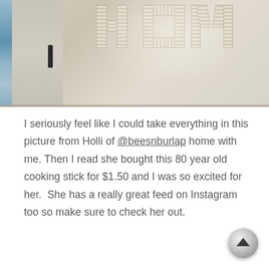[Figure (photo): Interior home photo showing a wall with decorative rustic wooden letters, a door with a dark handle on the left, and a blue stained glass window panel on the far left. The wall has a warm beige/cream tone with light reflections.]
I seriously feel like I could take everything in this picture from Holli of @beesnburlap home with me. Then I read she bought this 80 year old cooking stick for $1.50 and I was so excited for her.  She has a really great feed on Instagram too so make sure to check her out.